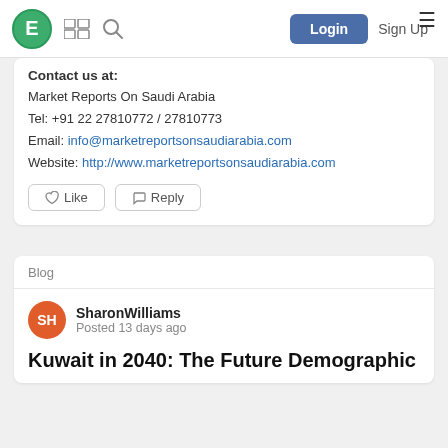E [logo] [grid icon] [search icon] Login Sign Up [hamburger menu]
Contact us at:
Market Reports On Saudi Arabia
Tel: +91 22 27810772 / 27810773
Email: info@marketreportsonsaudiarabia.com
Website: http://www.marketreportsonsaudiarabia.com
Like   Reply
Blog
SharonWilliams
Posted 13 days ago
Kuwait in 2040: The Future Demographic